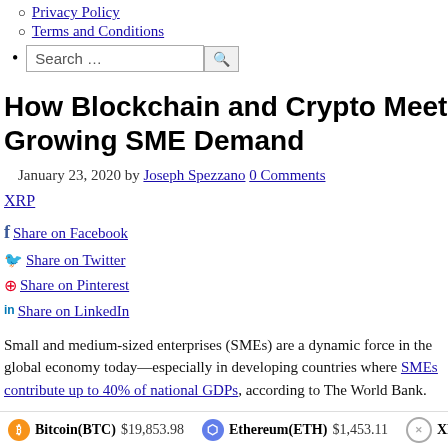Privacy Policy
Terms and Conditions
Search …
How Blockchain and Crypto Meet Growing SME Demand
January 23, 2020 by Joseph Spezzano 0 Comments
XRP
Share on Facebook
Share on Twitter
Share on Pinterest
Share on LinkedIn
Small and medium-sized enterprises (SMEs) are a dynamic force in the global economy today—especially in developing countries where SMEs contribute up to 40% of national GDPs, according to The World Bank.
Bitcoin(BTC) $19,853.98   Ethereum(ETH) $1,453.11   XR…